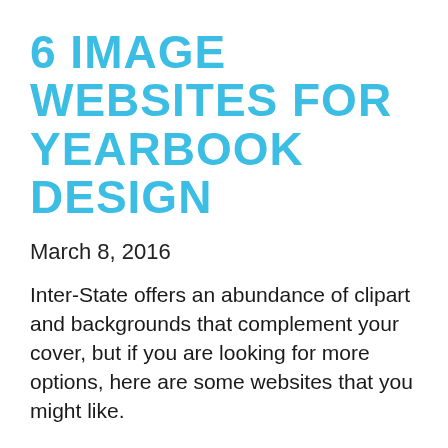6 IMAGE WEBSITES FOR YEARBOOK DESIGN
March 8, 2016
Inter-State offers an abundance of clipart and backgrounds that complement your cover, but if you are looking for more options, here are some websites that you might like.
READ MORE